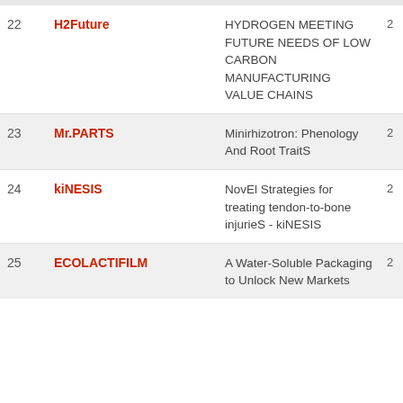| # | Acronym | Title |  |
| --- | --- | --- | --- |
| 22 | H2Future | HYDROGEN MEETING FUTURE NEEDS OF LOW CARBON MANUFACTURING VALUE CHAINS | 2 |
| 23 | Mr.PARTS | Minirhizotron: Phenology And Root TraitS | 2 |
| 24 | kiNESIS | NovEl Strategies for treating tendon-to-bone injurieS - kiNESIS | 2 |
| 25 | ECOLACTIFILM | A Water-Soluble Packaging to Unlock New Markets | 2 |